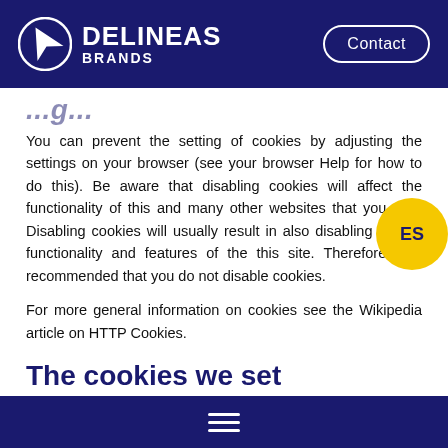DELINEAS BRANDS | Contact
The cookies we set
You can prevent the setting of cookies by adjusting the settings on your browser (see your browser Help for how to do this). Be aware that disabling cookies will affect the functionality of this and many other websites that you visit. Disabling cookies will usually result in also disabling certain functionality and features of the this site. Therefore it is recommended that you do not disable cookies.
For more general information on cookies see the Wikipedia article on HTTP Cookies.
The cookies we set
Forms related cookies. When you submit data through a form such as those found on contact pages or comment forms